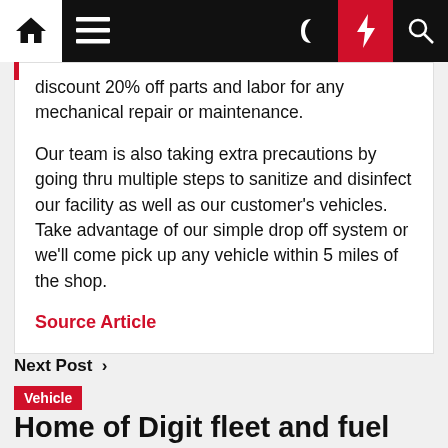Navigation bar with home, menu, dark mode, lightning, search icons
discount 20% off parts and labor for any mechanical repair or maintenance.
Our team is also taking extra precautions by going thru multiple steps to sanitize and disinfect our facility as well as our customer's vehicles. Take advantage of our simple drop off system or we'll come pick up any vehicle within 5 miles of the shop.
Source Article
Next Post ›
Vehicle
Home of Digit fleet and fuel